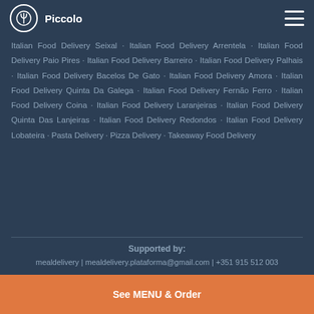Piccolo
Italian Food Delivery Seixal · Italian Food Delivery Arrentela · Italian Food Delivery Paio Pires · Italian Food Delivery Barreiro · Italian Food Delivery Palhais · Italian Food Delivery Bacelos De Gato · Italian Food Delivery Amora · Italian Food Delivery Quinta Da Galega · Italian Food Delivery Fernão Ferro · Italian Food Delivery Coina · Italian Food Delivery Laranjeiras · Italian Food Delivery Quinta Das Lanjeiras · Italian Food Delivery Redondos · Italian Food Delivery Lobateira · Pasta Delivery · Pizza Delivery · Takeaway Food Delivery
Supported by:
mealdelivery | mealdelivery.plataforma@gmail.com | +351 915 512 003
See MENU & Order